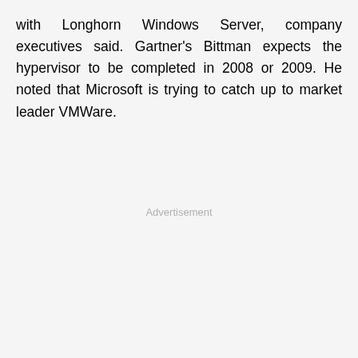with Longhorn Windows Server, company executives said. Gartner's Bittman expects the hypervisor to be completed in 2008 or 2009. He noted that Microsoft is trying to catch up to market leader VMWare.
Advertisement